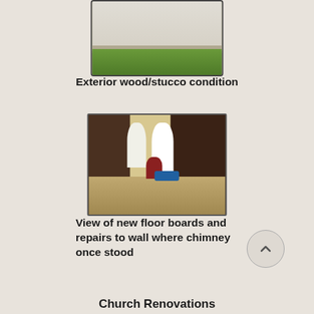[Figure (photo): Exterior photo showing white/stucco wall with green grass at the base, partially cropped at the top of the page.]
Exterior wood/stucco condition
[Figure (photo): Interior photo of a church room showing dark wood-paneled walls, two arched windows letting in bright light, a person kneeling on new light-colored floorboards, and blue bags on the floor.]
View of new floor boards and repairs to wall where chimney once stood
Church Renovations